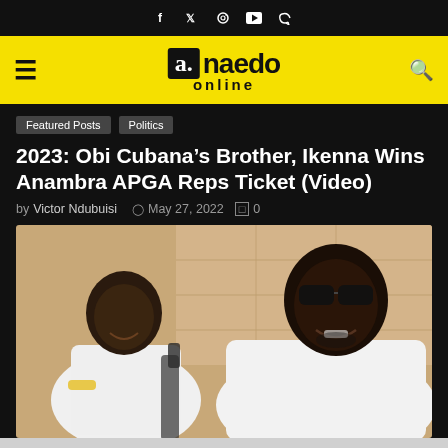Social icons: Facebook, Twitter, Instagram, YouTube, Telegram
[Figure (logo): Anaedo Online logo on yellow header bar with hamburger menu and search icon]
Featured Posts
Politics
2023: Obi Cubana’s Brother, Ikenna Wins Anambra APGA Reps Ticket (Video)
by Victor Ndubuisi  ○ May 27, 2022  ☐ 0
[Figure (photo): Two men in white t-shirts smiling, one wearing sunglasses, sitting in a casual outdoor setting]